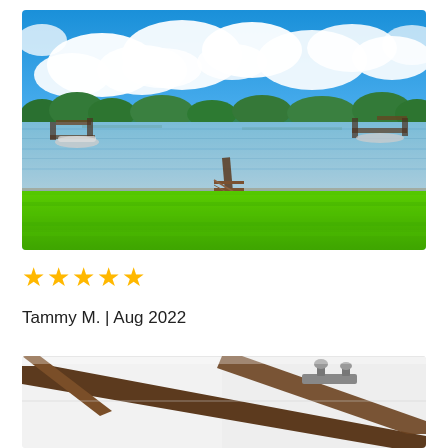[Figure (photo): Lakefront property photo: bright green lawn in foreground sloping down to a lake with a wooden dock/pier extending into calm water, boats moored on left and right, forested far shore under a vivid blue sky with white clouds]
[Figure (other): Five yellow star rating icons]
Tammy M. | Aug 2022
[Figure (photo): Interior architectural photo: white ceiling panels with dark wood exposed beam rafters and a track lighting fixture, partial view from below]